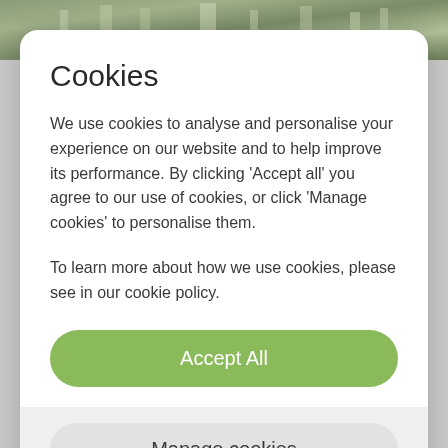[Figure (photo): Partial view of a building/architecture photo at the top of the page behind the cookie consent modal]
Cookies
We use cookies to analyse and personalise your experience on our website and to help improve its performance. By clicking ‘Accept all’ you agree to our use of cookies, or click ‘Manage cookies’ to personalise them.
To learn more about how we use cookies, please see in our cookie policy.
Accept All
Manage cookies